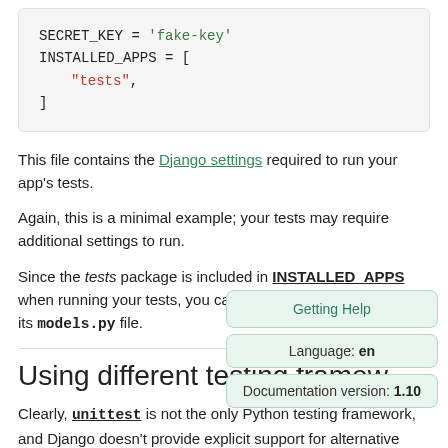SECRET_KEY = 'fake-key'
INSTALLED_APPS = [
    "tests",
]
This file contains the Django settings required to run your app's tests.
Again, this is a minimal example; your tests may require additional settings to run.
Since the tests package is included in INSTALLED_APPS when running your tests, you can define test-only models in its models.py file.
Using different testing framew…
Clearly, unittest is not the only Python testing framework, and Django doesn't provide explicit support for alternative frameworks, it does provide some integration to make test-only…